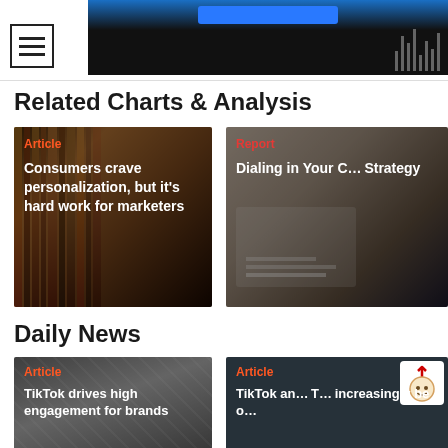[Figure (screenshot): Dark hero banner image with blue gradient and navigation hamburger menu icon]
Related Charts & Analysis
[Figure (photo): Article card: Consumers crave personalization, but it's hard work for marketers — background image of colorful vertical bars/books]
[Figure (photo): Report card: Dialing in Your C[ontent] Strategy — partially visible, background image of people around a table with documents]
Daily News
[Figure (photo): Article card: TikTok drives high engagement for brands — background image of diagonal lines/metal surface]
[Figure (photo): Article card: TikTok an[d] T[he] increasingly be o[...] — dark teal card with cookie/privacy icon]